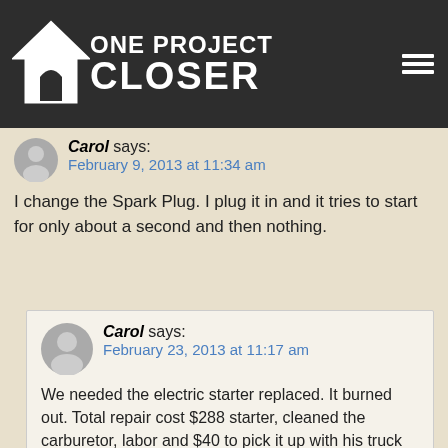ONE PROJECT CLOSER
Carol says:
February 9, 2013 at 11:34 am
I change the Spark Plug. I plug it in and it tries to start for only about a second and then nothing.
Carol says:
February 23, 2013 at 11:17 am
We needed the electric starter replaced. It burned out. Total repair cost $288 starter, cleaned the carburetor, labor and $40 to pick it up with his truck and bring it back. Words to the wise: We had a hard time starting it the last time and the button was pushed down too